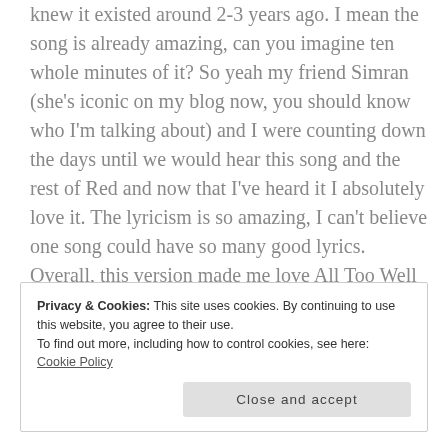knew it existed around 2-3 years ago. I mean the song is already amazing, can you imagine ten whole minutes of it? So yeah my friend Simran (she's iconic on my blog now, you should know who I'm talking about) and I were counting down the days until we would hear this song and the rest of Red and now that I've heard it I absolutely love it. The lyricism is so amazing, I can't believe one song could have so many good lyrics. Overall, this version made me love All Too Well like 10 times more ❤
Privacy & Cookies: This site uses cookies. By continuing to use this website, you agree to their use.
To find out more, including how to control cookies, see here: Cookie Policy
Close and accept